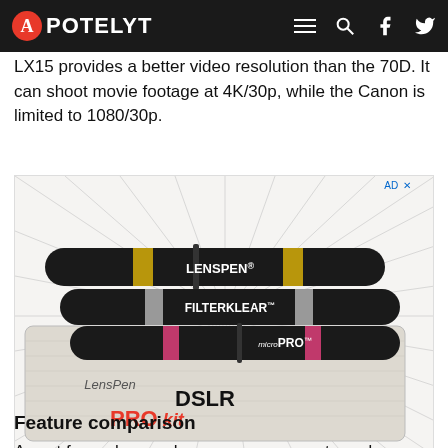APOTELYT
LX15 provides a better video resolution than the 70D. It can shoot movie footage at 4K/30p, while the Canon is limited to 1080/30p.
[Figure (photo): Advertisement photo showing LensPen DSLR Pro Kit with three black lens cleaning pens (LENSPEN, FILTERKLEAR, microPRO) on a gray microfiber cloth, with manga-style speed lines in the background.]
Feature comparison
A next few columns shows you an accurate and easy-to-read diff...